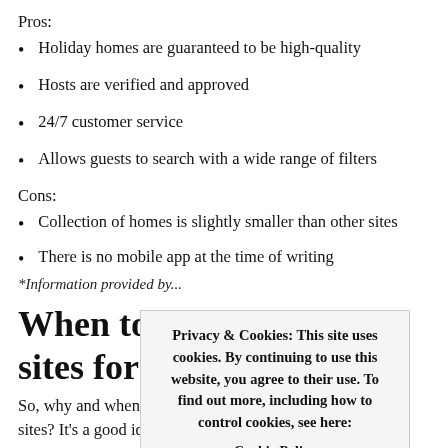Pros:
Holiday homes are guaranteed to be high-quality
Hosts are verified and approved
24/7 customer service
Allows guests to search with a wide range of filters
Cons:
Collection of homes is slightly smaller than other sites
There is no mobile app at the time of writing
*Information provided by...
When to use apartment sites for renters?
So, why and when travellers can use top apartment rental sites? It's a good idea for people willing to save on
Privacy & Cookies: This site uses cookies. By continuing to use this website, you agree to their use. To find out more, including how to control cookies, see here: Cookie Policy [Accept & Close]